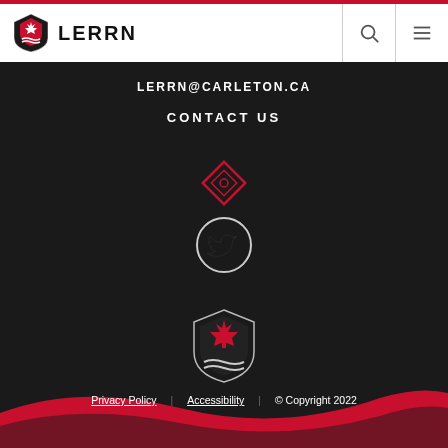LERRN
LERRN@CARLETON.CA
CONTACT US
[Figure (illustration): Diamond/rhombus social media icon outline in red on dark background]
[Figure (illustration): Twitter bird icon in circle on dark background]
[Figure (logo): Carleton University shield logo with red maple leaf]
Carleton University
Privacy Policy   Accessibility   © Copyright 2022